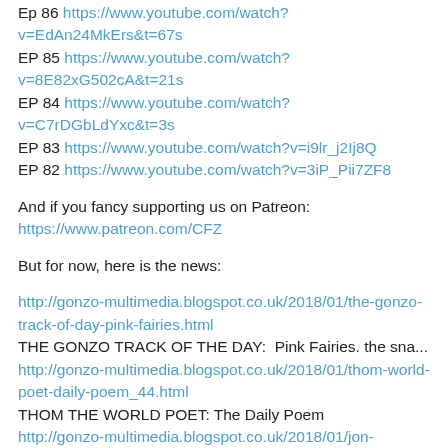Ep 86 https://www.youtube.com/watch?v=EdAn24MkErs&t=67s
EP 85 https://www.youtube.com/watch?v=8E82xG502cA&t=21s
EP 84 https://www.youtube.com/watch?v=C7rDGbLdYxc&t=3s
EP 83 https://www.youtube.com/watch?v=i9lr_j2Ij8Q
EP 82 https://www.youtube.com/watch?v=3iP_Pii7ZF8
And if you fancy supporting us on Patreon:
https://www.patreon.com/CFZ
But for now, here is the news:
http://gonzo-multimedia.blogspot.co.uk/2018/01/the-gonzo-track-of-day-pink-fairies.html
THE GONZO TRACK OF THE DAY:  Pink Fairies. the sna...
http://gonzo-multimedia.blogspot.co.uk/2018/01/thom-world-poet-daily-poem_44.html
THOM THE WORLD POET: The Daily Poem
http://gonzo-multimedia.blogspot.co.uk/2018/01/jon-andersons-daughter-opens-gallery.html